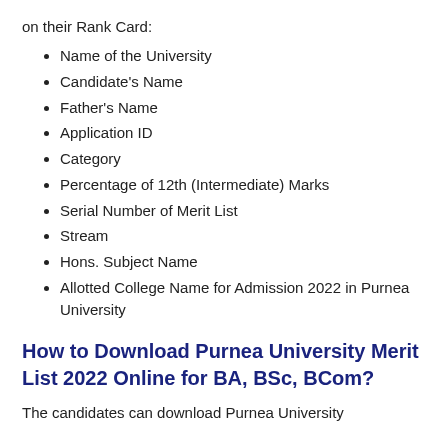on their Rank Card:
Name of the University
Candidate's Name
Father's Name
Application ID
Category
Percentage of 12th (Intermediate) Marks
Serial Number of Merit List
Stream
Hons. Subject Name
Allotted College Name for Admission 2022 in Purnea University
How to Download Purnea University Merit List 2022 Online for BA, BSc, BCom?
The candidates can download Purnea University